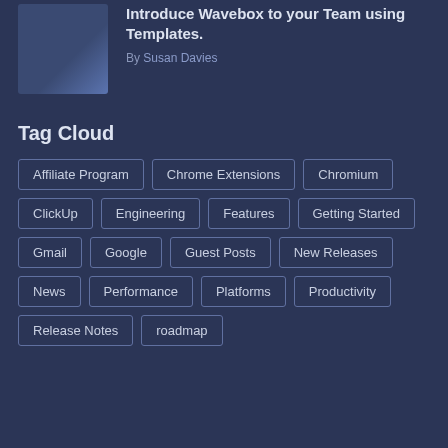[Figure (photo): Article thumbnail image - person with laptop and app icons]
Introduce Wavebox to your Team using Templates.
By Susan Davies
Tag Cloud
Affiliate Program
Chrome Extensions
Chromium
ClickUp
Engineering
Features
Getting Started
Gmail
Google
Guest Posts
New Releases
News
Performance
Platforms
Productivity
Release Notes
roadmap